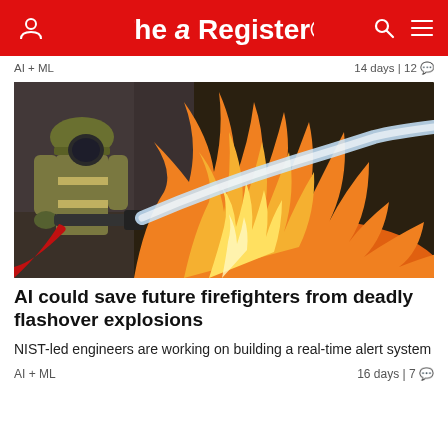The Register
AI + ML   14 days | 12
[Figure (photo): Firefighter in protective gear directing a hose stream at large orange and yellow flames, fire scene with intense fire visible]
AI could save future firefighters from deadly flashover explosions
NIST-led engineers are working on building a real-time alert system
AI + ML   16 days | 7